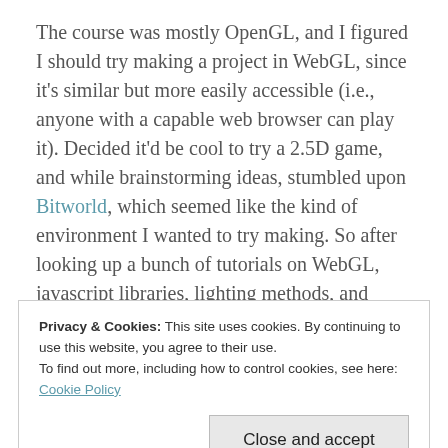The course was mostly OpenGL, and I figured I should try making a project in WebGL, since it's similar but more easily accessible (i.e., anyone with a capable web browser can play it). Decided it'd be cool to try a 2.5D game, and while brainstorming ideas, stumbled upon Bitworld, which seemed like the kind of environment I wanted to try making. So after looking up a bunch of tutorials on WebGL, javascript libraries, lighting methods, and billboarding, I came up with this.
Privacy & Cookies: This site uses cookies. By continuing to use this website, you agree to their use.
To find out more, including how to control cookies, see here: Cookie Policy
Close and accept